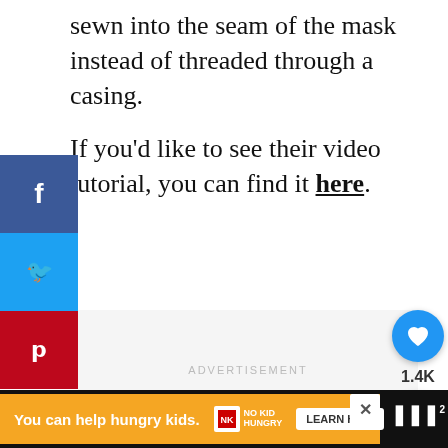sewn into the seam of the mask instead of threaded through a casing.
If you’d like to see their video tutorial, you can find it here.
[Figure (infographic): Social media sharing sidebar with Facebook, Twitter, and Pinterest buttons]
ADVERTISEMENT
[Figure (infographic): Floating action buttons: heart/like button showing 1.4K, and share button]
[Figure (infographic): What's Next card with thumbnail and text: Craft For A Cause: Sew ...]
[Figure (infographic): Bottom advertisement banner: You can help hungry kids. No Kid Hungry. Learn How.]